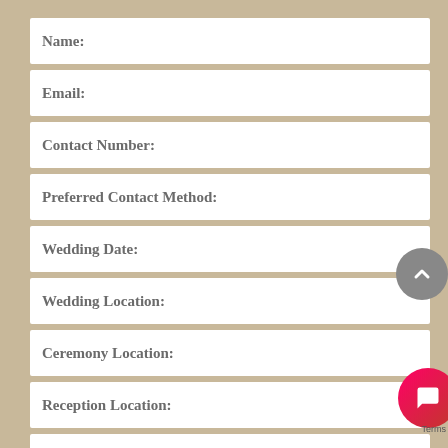Name:
Email:
Contact Number:
Preferred Contact Method:
Wedding Date:
Wedding Location:
Ceremony Location:
Reception Location:
How did you hear about us?*
Tell Us More: